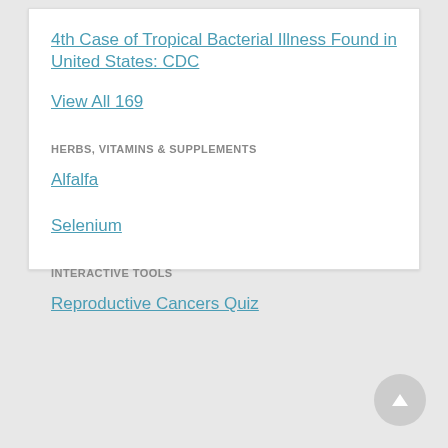4th Case of Tropical Bacterial Illness Found in United States: CDC
View All 169
HERBS, VITAMINS & SUPPLEMENTS
Alfalfa
Selenium
INTERACTIVE TOOLS
Reproductive Cancers Quiz